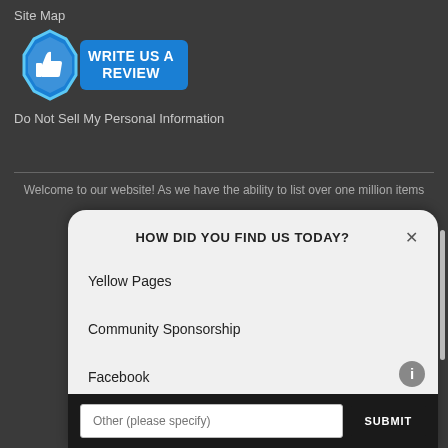Site Map
[Figure (illustration): A blue badge with thumbs up icon and pill-shaped button reading 'WRITE US A REVIEW']
Do Not Sell My Personal Information
Welcome to our website! As we have the ability to list over one million items
HOW DID YOU FIND US TODAY?
Yellow Pages
Community Sponsorship
Facebook
Other (please specify)
SUBMIT